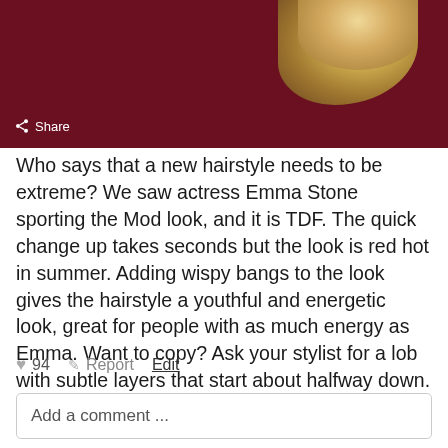[Figure (photo): Partial photo of a person with blonde hair against a dark red/maroon background, with a Share button overlay in the lower left corner.]
Who says that a new hairstyle needs to be extreme? We saw actress Emma Stone sporting the Mod look, and it is TDF. The quick change up takes seconds but the look is red hot in summer. Adding wispy bangs to the look gives the hairstyle a youthful and energetic look, great for people with as much energy as Emma. Want to copy? Ask your stylist for a lob with subtle layers that start about halfway down.
♥ 94   ✎ Report   Edit
Add a comment ...